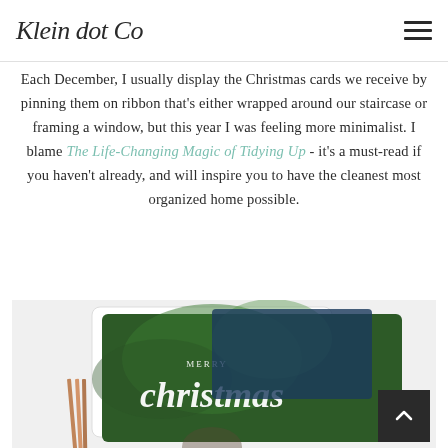Klein dot Co
Each December, I usually display the Christmas cards we receive by pinning them on ribbon that's either wrapped around our staircase or framing a window, but this year I was feeling more minimalist. I blame The Life-Changing Magic of Tidying Up - it's a must-read if you haven't already, and will inspire you to have the cleanest most organized home possible.
[Figure (photo): A white tray holding Christmas cards, with a dark green Christmas card prominently showing 'Merry Christmas' in white script lettering over a nature/foliage background. Additional cards and pencils/pens visible.]